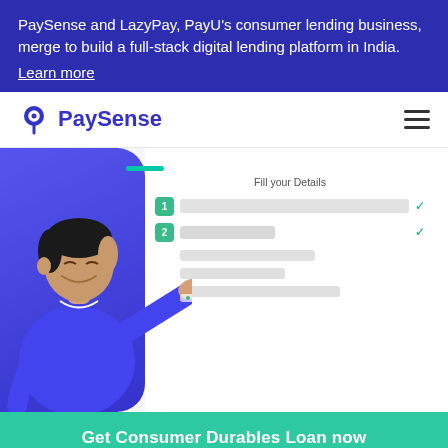PaySense and LazyPay, PayU's consumer lending business, merge to build a full-stack digital lending platform in India.
Learn more
[Figure (logo): PaySense logo with location-pin icon and bold blue text 'PaySense', plus hamburger menu icon on the right]
[Figure (illustration): A cartoon man in blue pointing at a form UI mockup showing 'Fill your Details' with step 1 and step 2 fields and checkmarks]
Get Consumer Durables Loan now